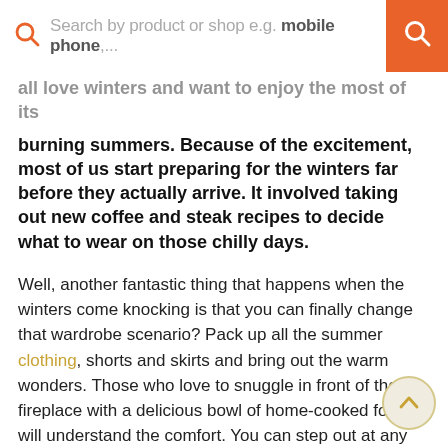[Figure (screenshot): Search bar with orange search icon on the left, placeholder text 'Search by product or shop e.g. mobile phone,...' and an orange search button on the right]
all love winters and want to enjoy the most of its burning summers. Because of the excitement, most of us start preparing for the winters far before they actually arrive. It involved taking out new coffee and steak recipes to decide what to wear on those chilly days.
Well, another fantastic thing that happens when the winters come knocking is that you can finally change that wardrobe scenario? Pack up all the summer clothing, shorts and skirts and bring out the warm wonders. Those who love to snuggle in front of the fireplace with a delicious bowl of home-cooked food will understand the comfort. You can step out at any time of the day without having to worry about getting tanned or sweating, and it's a beautiful time of the year. With so many options, you want things to be warm and cosy what better way to ensure than by putting a little thoug. into the clothes you choose to wear every day?